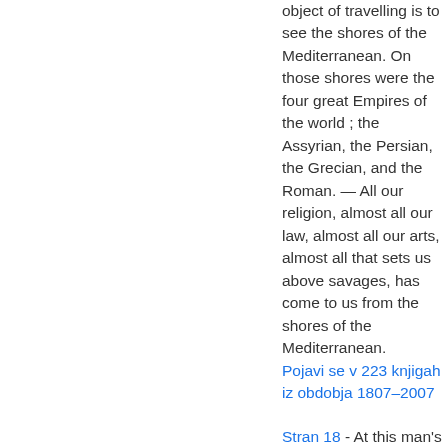object of travelling is to see the shores of the Mediterranean. On those shores were the four great Empires of the world ; the Assyrian, the Persian, the Grecian, and the Roman. — All our religion, almost all our law, almost all our arts, almost all that sets us above savages, has come to us from the shores of the Mediterranean.
Pojavi se v 223 knjigah iz obdobja 1807–2007
Stran 18 - At this man's table I enjoyed many cheerful and instructive hours, with companions, such as are not often